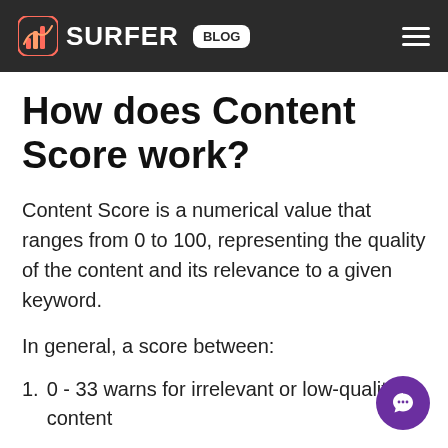SURFER BLOG
How does Content Score work?
Content Score is a numerical value that ranges from 0 to 100, representing the quality of the content and its relevance to a given keyword.
In general, a score between:
1. 0 - 33 warns for irrelevant or low-quality content